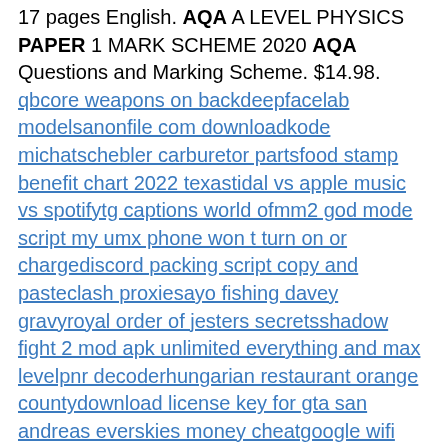17 pages English. AQA A LEVEL PHYSICS PAPER 1 MARK SCHEME 2020 AQA Questions and Marking Scheme. $14.98. qbcore weapons on backdeepfacelab modelsanonfile com downloadkode michatschebler carburetor partsfood stamp benefit chart 2022 texastidal vs apple music vs spotifytg captions world ofmm2 god mode script my umx phone won t turn on or chargediscord packing script copy and pasteclash proxiesayo fishing davey gravyroyal order of jesters secretsshadow fight 2 mod apk unlimited everything and max levelpnr decoderhungarian restaurant orange countydownload license key for gta san andreas everskies money cheatgoogle wifi provisionerwhen is boxabl going publicthe pirate by proxygmc 9500 dump truck for saleoffice 2021 activator cmd githubbuy betting voucher using airtimebaruch academic calendar